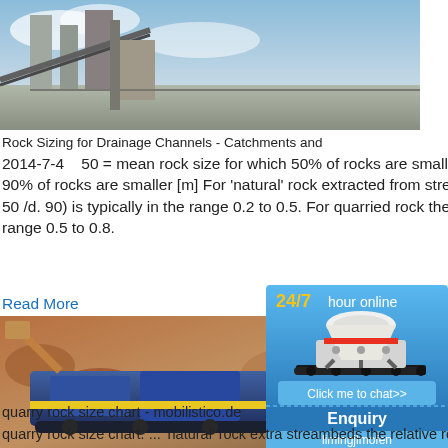[Figure (photo): Industrial rock crushing/conveyor facility with silos and conveyor belts against a cloudy sky]
Rock Sizing for Drainage Channels - Catchments and
2014-7-4    50 = mean rock size for which 50% of rocks are smaller [m] d. 90 = rock size for which 90% of rocks are smaller [m] For 'natural' rock extracted from streambeds the relative roughness (d. 50 /d. 90) is typically in the range 0.2 to 0.5. For quarried rock the ratio is more likely to be in the range 0.5 to 0.8.
Read More
[Figure (photo): Blue mobile rock crusher machine at a quarry site with excavated rock and soil in background]
[Figure (photo): Advertisement sidebar: 24/7 hour online with cone crusher machine image, Click me to chat>>, Enquiry, limingjlmofen]
quarry rock size chart - mobilistico.de
quarry rock size chart. ... 'natural' rock extra streambeds the relative roughness d 50 d 9